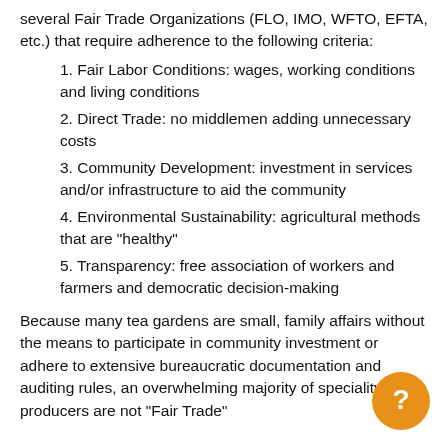several Fair Trade Organizations (FLO, IMO, WFTO, EFTA, etc.) that require adherence to the following criteria:
1. Fair Labor Conditions: wages, working conditions and living conditions
2. Direct Trade: no middlemen adding unnecessary costs
3. Community Development: investment in services and/or infrastructure to aid the community
4. Environmental Sustainability: agricultural methods that are "healthy"
5. Transparency: free association of workers and farmers and democratic decision-making
Because many tea gardens are small, family affairs without the means to participate in community investment or adhere to extensive bureaucratic documentation and auditing rules, an overwhelming majority of speciality tea producers are not "Fair Trade"